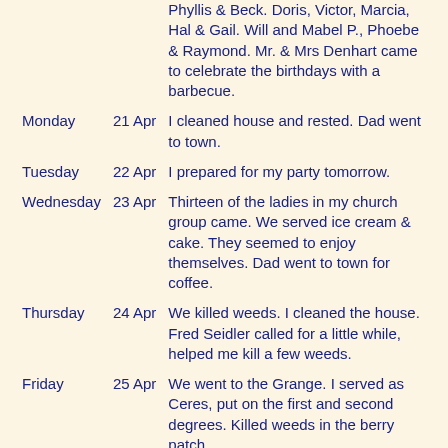| Day | Date | Entry |
| --- | --- | --- |
|  |  | Phyllis & Beck. Doris, Victor, Marcia, Hal & Gail. Will and Mabel P., Phoebe & Raymond. Mr. & Mrs Denhart came to celebrate the birthdays with a barbecue. |
| Monday | 21 Apr | I cleaned house and rested. Dad went to town. |
| Tuesday | 22 Apr | I prepared for my party tomorrow. |
| Wednesday | 23 Apr | Thirteen of the ladies in my church group came. We served ice cream & cake. They seemed to enjoy themselves. Dad went to town for coffee. |
| Thursday | 24 Apr | We killed weeds. I cleaned the house. Fred Seidler called for a little while, helped me kill a few weeds. |
| Friday | 25 Apr | We went to the Grange. I served as Ceres, put on the first and second degrees. Killed weeds in the berry patch. |